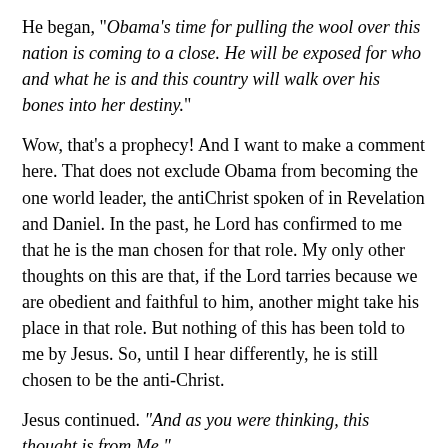He began, "Obama's time for pulling the wool over this nation is coming to a close. He will be exposed for who and what he is and this country will walk over his bones into her destiny."
Wow, that's a prophecy! And I want to make a comment here. That does not exclude Obama from becoming the one world leader, the antiChrist spoken of in Revelation and Daniel. In the past, he Lord has confirmed to me that he is the man chosen for that role. My only other thoughts on this are that, if the Lord tarries because we are obedient and faithful to him, another might take his place in that role. But nothing of this has been told to me by Jesus. So, until I hear differently, he is still chosen to be the anti-Christ.
Jesus continued. "And as you were thinking, this thought is from Me."
It's been going through my mind for a few days...
"If you want to ruin a nation, make it prosperous